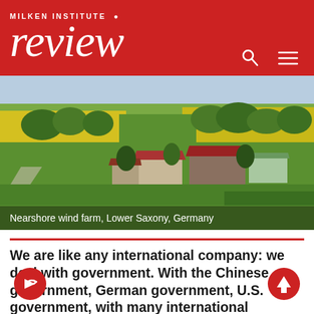MILKEN INSTITUTE review
[Figure (photo): Aerial view of a nearshore wind farm area in Lower Saxony, Germany, showing farm buildings surrounded by green and yellow fields with trees]
Nearshore wind farm, Lower Saxony, Germany
We are like any international company: we deal with government. With the Chinese government, German government, U.S. government, with many international governments. And of course we get support from government in the form of research